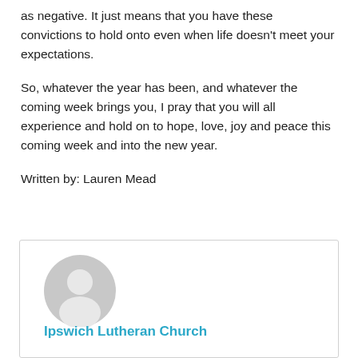as negative. It just means that you have these convictions to hold onto even when life doesn't meet your expectations.
So, whatever the year has been, and whatever the coming week brings you, I pray that you will all experience and hold on to hope, love, joy and peace this coming week and into the new year.
Written by: Lauren Mead
[Figure (illustration): Author card with a generic grey avatar/profile icon above the text 'Ipswich Lutheran Church' in blue, inside a bordered card box.]